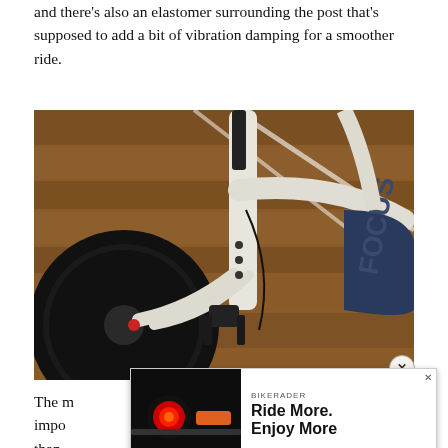and there's also an elastomer surrounding the post that's supposed to add a bit of vibration damping for a smoother ride.
[Figure (photo): Close-up photograph of a white and dark blue road bicycle frame, showing the seat tube, seatpost, rear brake caliper, rear wheel, and part of the down tube with a logo. Background is a wooden floor.]
The m... impo... agile than... t or on o...